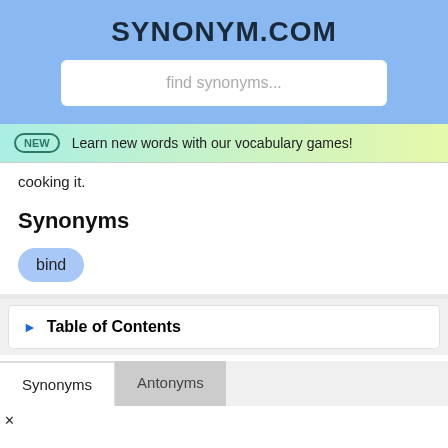SYNONYM.COM
find synonyms...
NEW  Learn new words with our vocabulary games!
cooking it.
Synonyms
bind
Table of Contents
Synonyms	Antonyms